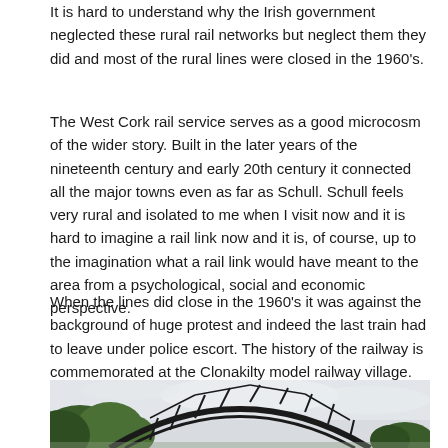It is hard to understand why the Irish government neglected these rural rail networks but neglect them they did and most of the rural lines were closed in the 1960's.
The West Cork rail service serves as a good microcosm of the wider story. Built in the later years of the nineteenth century and early 20th century it connected all the major towns even as far as Schull. Schull feels very rural and isolated to me when I visit now and it is hard to imagine a rail link now and it is, of course, up to the imagination what a rail link would have meant to the area from a psychological, social and economic perspective.
When the lines did close in the 1960's it was against the background of huge protest and indeed the last train had to leave under police escort. The history of the railway is commemorated at the Clonakilty model railway village. The main Bandon to Cork road is traversed by this beautifull viaduct also.
[Figure (photo): A black metal railway viaduct arch structure visible through and above green trees, with a pale grey overcast sky in the background.]